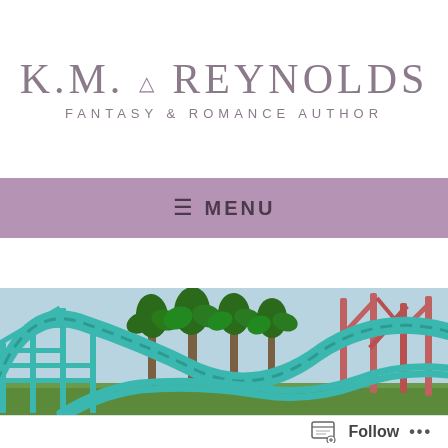K.M. REYNOLDS
FANTASY & ROMANCE AUTHOR
≡  MENU
[Figure (photo): Roller coaster with teal/green tracks and coral/red support structures with palm trees in the background at a theme park]
Follow ...